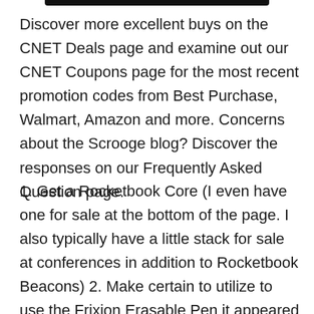Discover more excellent buys on the CNET Deals page and examine out our CNET Coupons page for the most recent promotion codes from Best Purchase, Walmart, Amazon and more. Concerns about the Scrooge blog? Discover the responses on our Frequently Asked Question page.
1. Get a Rocketbook Core (I even have one for sale at the bottom of the page. I also typically have a little stack for sale at conferences in addition to Rocketbook Beacons) 2. Make certain to utilize to use the Frixion Erasable Pen it appeared with (you can buy Frixons in all sorts of types and col...